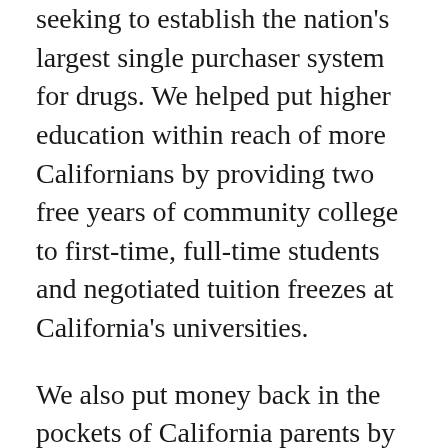seeking to establish the nation's largest single purchaser system for drugs. We helped put higher education within reach of more Californians by providing two free years of community college to first-time, full-time students and negotiated tuition freezes at California's universities.
We also put money back in the pockets of California parents by doubling the state's Earned Income Tax Credit and adding a $1,000 credit for families with children under the age of six. We eased the financial burden on parents by repealing the sales and use tax on diapers.